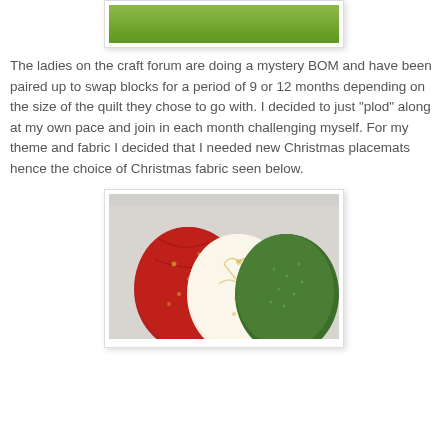[Figure (photo): Top portion of a photo showing green grass field]
The ladies on the craft forum are doing a mystery BOM and have been paired up to swap blocks for a period of 9 or 12 months depending on the size of the quilt they chose to go with. I decided to just "plod" along at my own pace and join in each month challenging myself. For my theme and fabric I decided that I needed new Christmas placemats hence the choice of Christmas fabric seen below.
[Figure (photo): Photo of three rolled/folded Christmas fabrics: red with gold pattern, white/cream with gold ornament pattern, and green with small pattern]